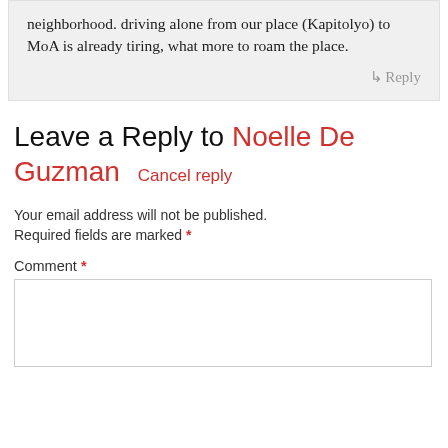neighborhood. driving alone from our place (Kapitolyo) to MoA is already tiring, what more to roam the place.
↳Reply
Leave a Reply to Noelle De Guzman   Cancel reply
Your email address will not be published. Required fields are marked *
Comment *